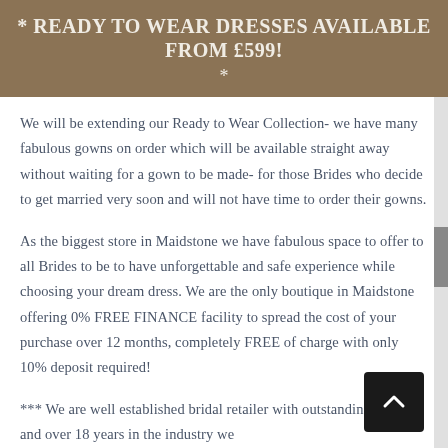* READY TO WEAR DRESSES AVAILABLE FROM £599! *
We will be extending our Ready to Wear Collection- we have many fabulous gowns on order which will be available straight away without waiting for a gown to be made- for those Brides who decide to get married very soon and will not have time to order their gowns.
As the biggest store in Maidstone we have fabulous space to offer to all Brides to be to have unforgettable and safe experience while choosing your dream dress. We are the only boutique in Maidstone offering 0% FREE FINANCE facility to spread the cost of your purchase over 12 months, completely FREE of charge with only 10% deposit required!
*** We are well established bridal retailer with outstanding reviews and over 18 years in the industry we